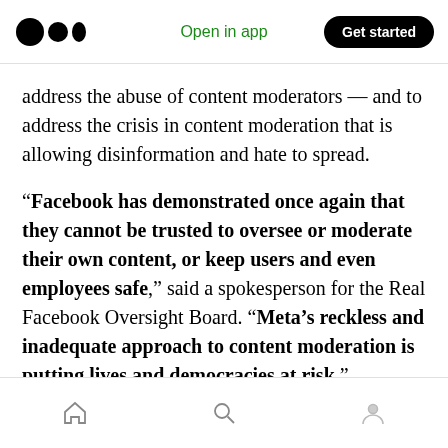Open in app | Get started
address the abuse of content moderators — and to address the crisis in content moderation that is allowing disinformation and hate to spread.
“Facebook has demonstrated once again that they cannot be trusted to oversee or moderate their own content, or keep users and even employees safe,” said a spokesperson for the Real Facebook Oversight Board. “Meta’s reckless and inadequate approach to content moderation is putting lives and democracies at risk.”
Home | Search | Profile